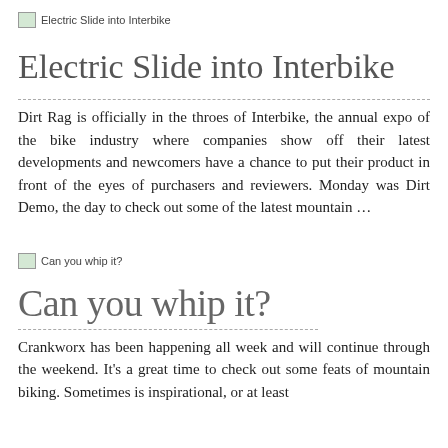[Figure (illustration): Broken image placeholder labeled 'Electric Slide into Interbike']
Electric Slide into Interbike
Dirt Rag is officially in the throes of Interbike, the annual expo of the bike industry where companies show off their latest developments and newcomers have a chance to put their product in front of the eyes of purchasers and reviewers. Monday was Dirt Demo, the day to check out some of the latest mountain …
[Figure (illustration): Broken image placeholder labeled 'Can you whip it?']
Can you whip it?
Crankworx has been happening all week and will continue through the weekend. It's a great time to check out some feats of mountain biking. Sometimes is inspirational, or at least